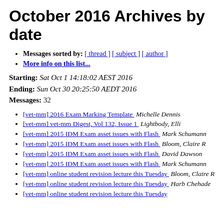October 2016 Archives by date
Messages sorted by: [ thread ] [ subject ] [ author ]
More info on this list...
Starting: Sat Oct 1 14:18:02 AEST 2016
Ending: Sun Oct 30 20:25:50 AEDT 2016
Messages: 32
[vet-mm] 2016 Exam Marking Template   Michelle Dennis
[vet-mm] vet-mm Digest, Vol 132, Issue 1   Lightbody, Elli
[vet-mm] 2015 IDM Exam asset issues with Flash   Mark Schumann
[vet-mm] 2015 IDM Exam asset issues with Flash   Bloom, Claire R
[vet-mm] 2015 IDM Exam asset issues with Flash   David Dawson
[vet-mm] 2015 IDM Exam asset issues with Flash   Mark Schumann
[vet-mm] online student revision lecture this Tuesday   Bloom, Claire R
[vet-mm] online student revision lecture this Tuesday   Harb Chehade
[vet-mm] online student revision lecture this Tuesday